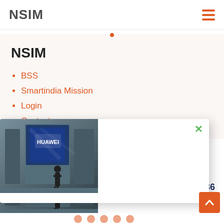NSIM
NSIM
BSS
Smartindia Mission
Login
Contact
[Figure (screenshot): Popup overlay showing a Huawei exhibition booth image on the left with a white content area and a green close (×) button in the top right.]
[Figure (photo): Huawei exhibition/trade show booth with blue lighting, a person standing in front, and the Huawei logo visible.]
Huawei sets up biggest global service centre in Bengaluru, invests Rs 136 crore